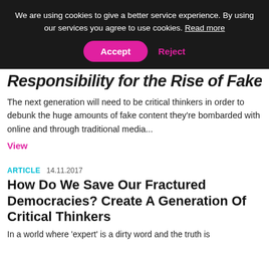We are using cookies to give a better service experience. By using our services you agree to use cookies. Read more
Responsibility for the Rise of Fake News?
The next generation will need to be critical thinkers in order to debunk the huge amounts of fake content they're bombarded with online and through traditional media...
View
ARTICLE   14.11.2017
How Do We Save Our Fractured Democracies? Create A Generation Of Critical Thinkers
In a world where 'expert' is a dirty word and the truth is